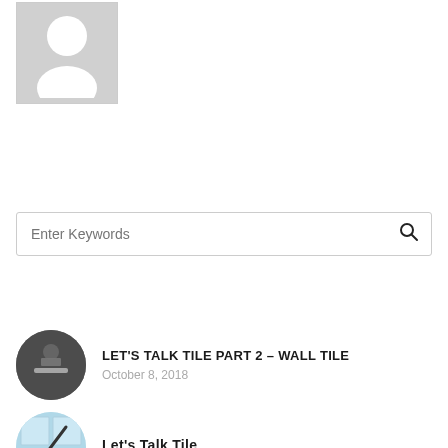[Figure (illustration): Generic user avatar placeholder: grey square with white silhouette of a person (head circle and shoulders)]
[Figure (other): Search bar with placeholder text 'Enter Keywords' and a search icon (magnifying glass) on the right]
[Figure (photo): Circular thumbnail photo of a tile/bathroom sink area, dark tones]
LET'S TALK TILE PART 2 – WALL TILE
October 8, 2018
[Figure (photo): Circular thumbnail photo with light blue/white tile, partial view]
Let's Talk Tile